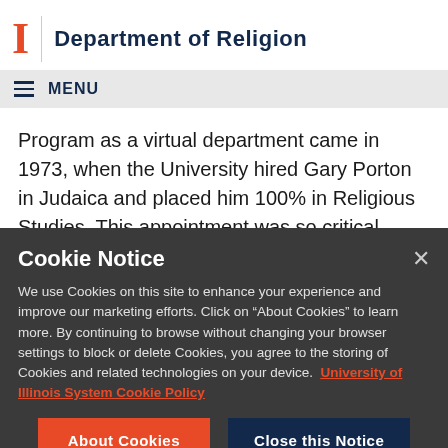Department of Religion
MENU
Program as a virtual department came in 1973, when the University hired Gary Porton in Judaica and placed him 100% in Religious Studies. This appointment was so critical because in University policy tenure resides only in
Cookie Notice
We use Cookies on this site to enhance your experience and improve our marketing efforts. Click on “About Cookies” to learn more. By continuing to browse without changing your browser settings to block or delete Cookies, you agree to the storing of Cookies and related technologies on your device. University of Illinois System Cookie Policy